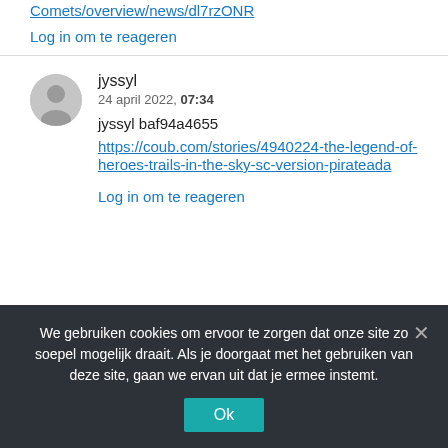Comets/overview/news/dl7rzONR
Log in om te reageren
jyssyl
24 april 2022, 07:34
jyssyl baf94a4655
https://coub.com/stories/4940224-the-legend-of-heroes-trails-in-the-sky-sc-version-pirateada
Log in om te reageren
We gebruiken cookies om ervoor te zorgen dat onze site zo soepel mogelijk draait. Als je doorgaat met het gebruiken van deze site, gaan we ervan uit dat je ermee instemt.
Ok